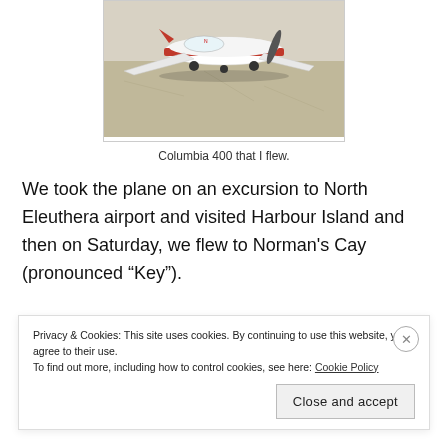[Figure (photo): A red and white Columbia 400 aircraft parked on a tarmac/ramp, viewed from the front-left angle, with propeller visible and wings extending to the sides.]
Columbia 400 that I flew.
We took the plane on an excursion to North Eleuthera airport and visited Harbour Island and then on Saturday, we flew to Norman's Cay (pronounced “Key”).
Privacy & Cookies: This site uses cookies. By continuing to use this website, you agree to their use.
To find out more, including how to control cookies, see here: Cookie Policy
Close and accept